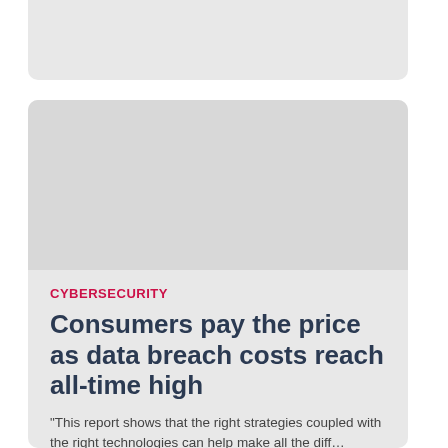become a major focal point for business leaders.
CYBERSECURITY
Consumers pay the price as data breach costs reach all-time high
"This report shows that the right strategies coupled with the right technologies can help make all the diff...